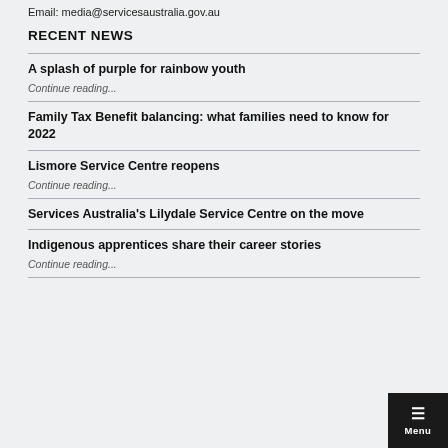Email: media@servicesaustralia.gov.au
RECENT NEWS
A splash of purple for rainbow youth
Continue reading...
Family Tax Benefit balancing: what families need to know for 2022
Lismore Service Centre reopens
Continue reading...
Services Australia's Lilydale Service Centre on the move
Indigenous apprentices share their career stories
Continue reading...